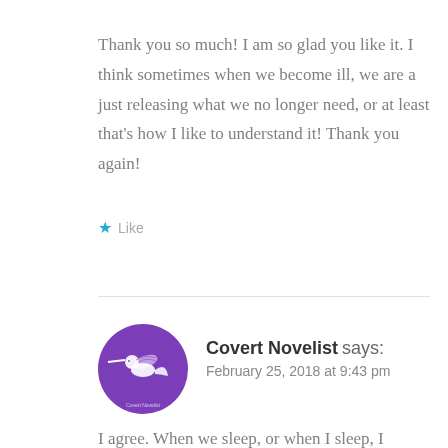Thank you so much! I am so glad you like it. I think sometimes when we become ill, we are a just releasing what we no longer need, or at least that's how I like to understand it! Thank you again!
★ Like
Covert Novelist says:
February 25, 2018 at 9:43 pm
I agree. When we sleep, or when I sleep, I